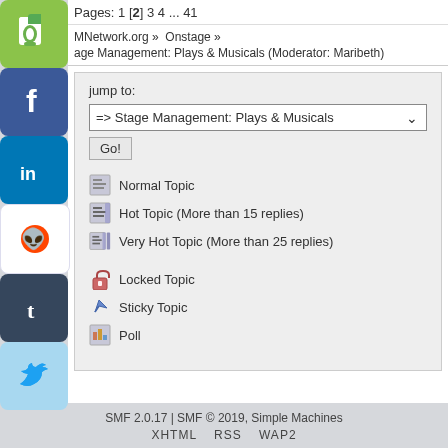Pages: 1 [2] 3 4 ... 41
MNetwork.org » Onstage »
age Management: Plays & Musicals (Moderator: Maribeth)
Jump to: => Stage Management: Plays & Musicals  Go!
Normal Topic
Hot Topic (More than 15 replies)
Very Hot Topic (More than 25 replies)
Locked Topic
Sticky Topic
Poll
SMF 2.0.17 | SMF © 2019, Simple Machines   XHTML   RSS   WAP2